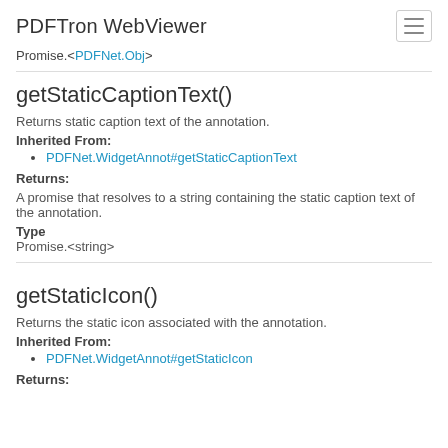PDFTron WebViewer
Promise.<PDFNet.Obj>
getStaticCaptionText()
Returns static caption text of the annotation.
Inherited From:
PDFNet.WidgetAnnot#getStaticCaptionText
Returns:
A promise that resolves to a string containing the static caption text of the annotation.
Type
Promise.<string>
getStaticIcon()
Returns the static icon associated with the annotation.
Inherited From:
PDFNet.WidgetAnnot#getStaticIcon
Returns: